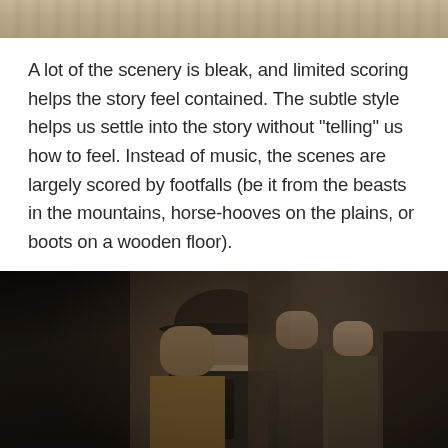[Figure (photo): Partial view of a scene from what appears to be a Western film or TV show, showing a bleak outdoor landscape at the top.]
A lot of the scenery is bleak, and limited scoring helps the story feel contained. The subtle style helps us settle into the story without “telling” us how to feel. Instead of music, the scenes are largely scored by footfalls (be it from the beasts in the mountains, horse-hooves on the plains, or boots on a wooden floor).
[Figure (photo): A sepia-toned still from what appears to be a Western period drama, showing several men in period clothing (bowler hats, long coats) standing in what appears to be an interior setting with ornate wallpaper.]